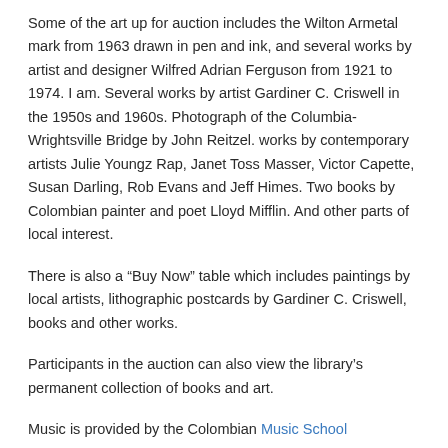Some of the art up for auction includes the Wilton Armetal mark from 1963 drawn in pen and ink, and several works by artist and designer Wilfred Adrian Ferguson from 1921 to 1974. I am. Several works by artist Gardiner C. Criswell in the 1950s and 1960s. Photograph of the Columbia-Wrightsville Bridge by John Reitzel. works by contemporary artists Julie Youngz Rap, Janet Toss Masser, Victor Capette, Susan Darling, Rob Evans and Jeff Himes. Two books by Colombian painter and poet Lloyd Mifflin. And other parts of local interest.
There is also a “Buy Now” table which includes paintings by local artists, lithographic postcards by Gardiner C. Criswell, books and other works.
Participants in the auction can also view the library’s permanent collection of books and art.
Music is provided by the Colombian Music School.